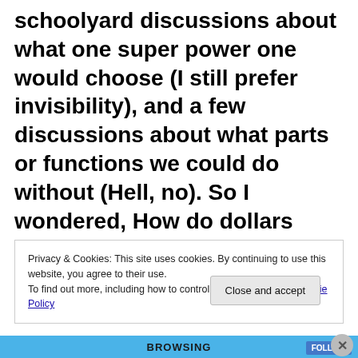schoolyard discussions about what one super power one would choose (I still prefer invisibility), and a few discussions about what parts or functions we could do without (Hell, no). So I wondered, How do dollars replace a hand? Moreover, how do
Privacy & Cookies: This site uses cookies. By continuing to use this website, you agree to their use.
To find out more, including how to control cookies, see here: Cookie Policy
Close and accept
BROWSING